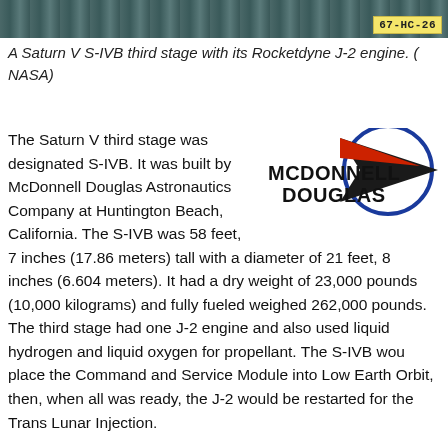[Figure (photo): Top portion of a Saturn V S-IVB third stage rocket with its Rocketdyne J-2 engine (cropped photo, NASA), with an identifier badge reading 67-HC-26 in the upper right corner.]
A Saturn V S-IVB third stage with its Rocketdyne J-2 engine. ( NASA)
[Figure (logo): McDonnell Douglas logo — bold black text MCDONNELL DOUGLAS with a blue orbital ring and red/black dart/arrow graphic]
The Saturn V third stage was designated S-IVB. It was built by McDonnell Douglas Astronautics Company at Huntington Beach, California. The S-IVB was 58 feet, 7 inches (17.86 meters) tall with a diameter of 21 feet, 8 inches (6.604 meters). It had a dry weight of 23,000 pounds (10,000 kilograms) and fully fueled weighed 262,000 pounds. The third stage had one J-2 engine and also used liquid hydrogen and liquid oxygen for propellant. The S-IVB wou place the Command and Service Module into Low Earth Orbit, then, when all was ready, the J-2 would be restarted for the Trans Lunar Injection.